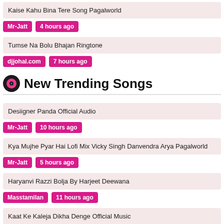Kaise Kahu Bina Tere Song Pagalworld
Mr-Jatt | 4 hours ago
Tumse Na Bolu Bhajan Ringtone
djjohal.com | 7 hours ago
New Trending Songs
Desiigner Panda Official Audio
Mr-Jatt | 10 hours ago
Kya Mujhe Pyar Hai Lofi Mix Vicky Singh Danvendra Arya Pagalworld
Mr-Jatt | 5 hours ago
Haryanvi Razzi Bolja By Harjeet Deewana
Masstamilan | 11 hours ago
Kaat Ke Kaleja Dikha Denge Official Music